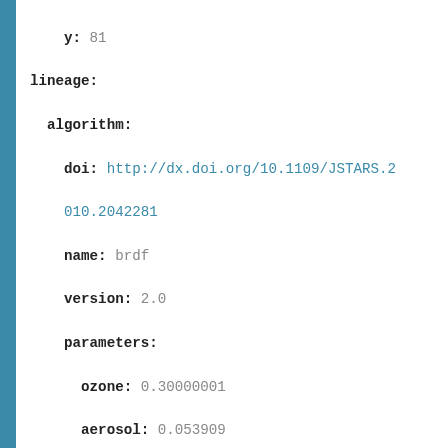y: 81
lineage:
  algorithm:
    doi: http://dx.doi.org/10.1109/JSTARS.2010.2042281
    name: brdf
    version: 2.0
    parameters:
      ozone: 0.30000001
      aerosol: 0.053909
      elevation: 0.09
      water_vapour: 2.120001220703125
      solar_distance: 0.98658
      band_1_brdf_geo: 0.004035014243315275
      band_1_brdf_iso: 0.07855787923687024
      band_1_brdf_vol: 0.013757684738780808
      band_2_brdf_geo: 0.014576397840337253
      band_2_brdf_iso: 0.1340831571076666
      band_2_brdf_vol: 0.04551151162630679
      band_3_brdf_...